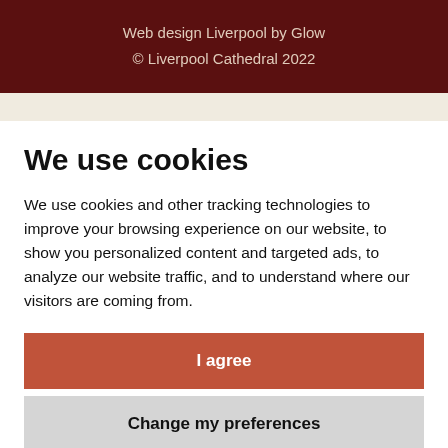Web design Liverpool by Glow
© Liverpool Cathedral 2022
We use cookies
We use cookies and other tracking technologies to improve your browsing experience on our website, to show you personalized content and targeted ads, to analyze our website traffic, and to understand where our visitors are coming from.
I agree
Change my preferences